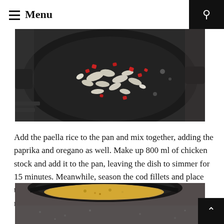Menu
[Figure (photo): A black frying pan on a stove with chopped onions and red peppers sautéing in it, viewed from above.]
Add the paella rice to the pan and mix together, adding the paprika and oregano as well. Make up 800 ml of chicken stock and add it to the pan, leaving the dish to simmer for 15 minutes. Meanwhile, season the cod fillets and place them in a lightly oiled ovenproof dish in the oven for 15 minutes at 180 degrees Celsius (fan oven).
[Figure (photo): A close-up view of a black pan with paella/rice simmering, showing a golden-brown surface, partially cropped.]